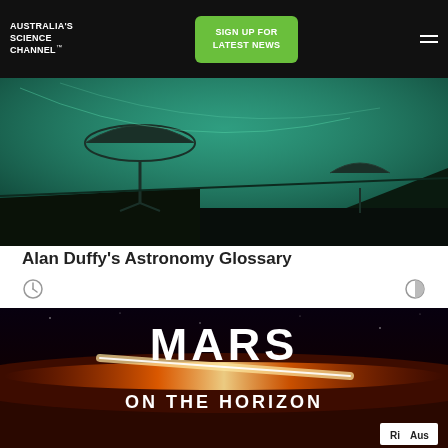Australia's Science Channel™
SIGN UP FOR LATEST NEWS
[Figure (photo): Radio telescope dish array against a teal/green-tinted night sky background]
Alan Duffy's Astronomy Glossary
[Figure (photo): Mars on the Horizon promotional image showing Mars surface in red tones with bright streak of light across horizon, large white text reading MARS ON THE HORIZON, with Ri Aus logo bottom right]